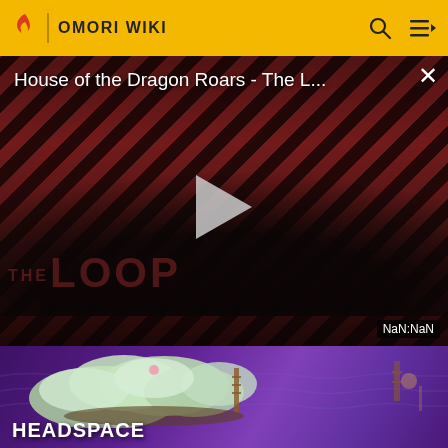OMORI WIKI
[Figure (screenshot): Video thumbnail for 'House of the Dragon Roars - The L...' showing dark figures against a diagonal red/black striped background with THE LOOP watermark and a play button. Timestamp shows NaN:NaN.]
[Figure (screenshot): Headspace game screenshot showing a pixel art island with trees/clouds on a purple background, labeled HEADSPACE in bold white text.]